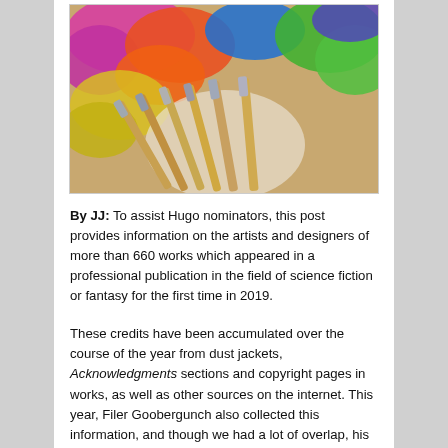[Figure (photo): Colorful powder paints and paint brushes on an art palette surface. Vibrant colors including pink, orange, yellow, green, blue scattered around several wooden-handled paint brushes.]
By JJ: To assist Hugo nominators, this post provides information on the artists and designers of more than 660 works which appeared in a professional publication in the field of science fiction or fantasy for the first time in 2019.
These credits have been accumulated over the course of the year from dust jackets, Acknowledgments sections and copyright pages in works, as well as other sources on the internet. This year, Filer Goobergunch also collected this information, and though we had a lot of overlap, his extra entries have greatly increasead the information we